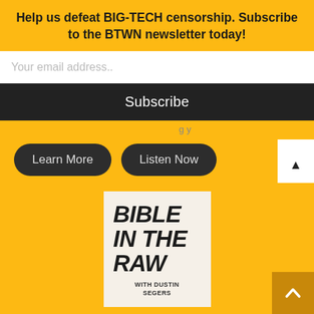Help us defeat BIG-TECH censorship. Subscribe to the BTWN newsletter today!
Your email address..
Subscribe
Learn More
Listen Now
[Figure (logo): Bible in the Raw with Dustin Segers logo on cream background with bold black text]
BIBLE IN THE RAW WITH DUSTIN SEGERS